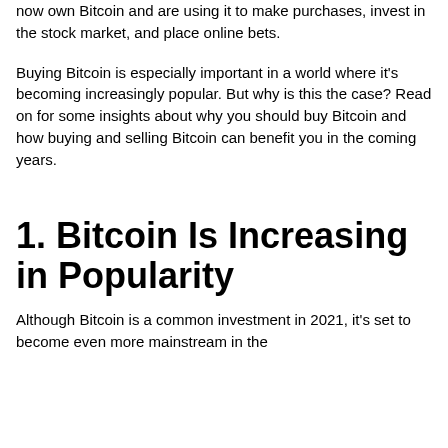now own Bitcoin and are using it to make purchases, invest in the stock market, and place online bets.
Buying Bitcoin is especially important in a world where it's becoming increasingly popular. But why is this the case? Read on for some insights about why you should buy Bitcoin and how buying and selling Bitcoin can benefit you in the coming years.
1. Bitcoin Is Increasing in Popularity
Although Bitcoin is a common investment in 2021, it's set to become even more mainstream in the